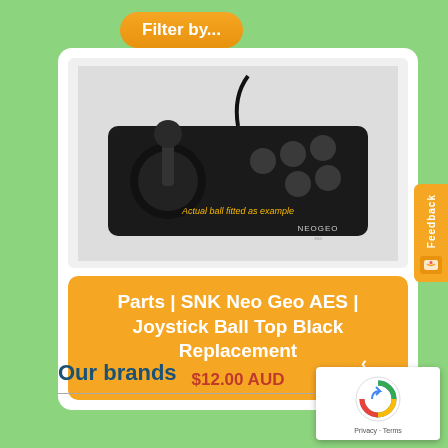Filter by...
[Figure (photo): SNK Neo Geo AES joystick with ball top, black controller with multiple buttons. Text overlay: 'Actual ball fitted as example' and 'NEOGEO' branding on the unit.]
Parts | SNK Neo Geo AES | Joystick Ball Top Black Replacement
$12.00 AUD
Our brands
[Figure (other): Google reCAPTCHA widget with Privacy and Terms links]